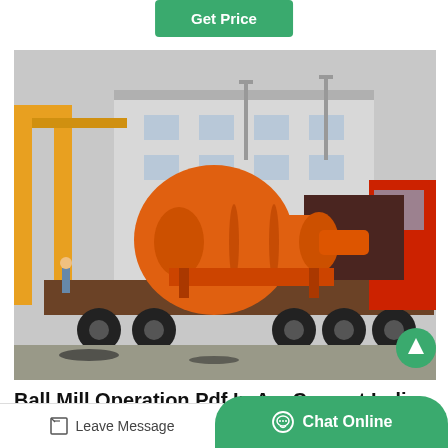Get Price
[Figure (photo): Large orange ball mill loaded on a flatbed truck in an industrial yard. A yellow overhead crane structure is visible on the left, and a white factory building in the background. A person stands near the truck. Red truck cab visible on the right.]
Ball Mill Operation Pdf In A... Cement India
Leave Message
Chat Online